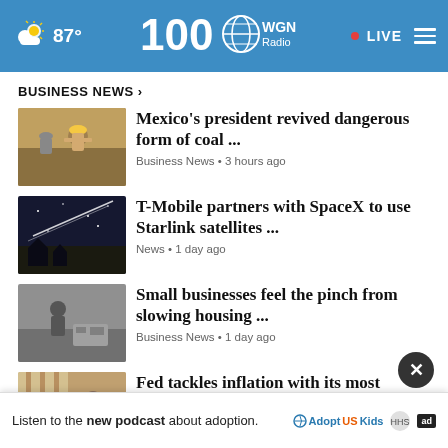87° WGN Radio • LIVE
BUSINESS NEWS >
[Figure (photo): Worker in hard hat at coal site]
Mexico's president revived dangerous form of coal ... Business News • 3 hours ago
[Figure (photo): Night sky with satellite streaks]
T-Mobile partners with SpaceX to use Starlink satellites ... News • 1 day ago
[Figure (photo): Small business worker with equipment]
Small businesses feel the pinch from slowing housing ... Business News • 1 day ago
[Figure (photo): Person in building with insulation]
Fed tackles inflation with its most diverse leadership ... Business News • 1 day ago
[Figure (photo): Pipeline aerial view]
Pipeline operator agrees to guilty plea ...
Listen to the new podcast about adoption. Adopt US Kids